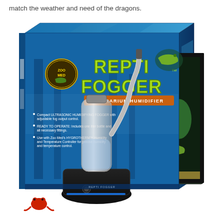match the weather and need of the dragons.
[Figure (photo): Product box of Zoo Med Repti Fogger Terrarium Humidifier. The packaging shows a blue background with forest imagery. The brand logo is visible in the upper left of the box face. Large green text reads 'REPTI FOGGER' and below it in orange/brown bar says 'TERRARIUM HUMIDIFIER'. The box shows three bullet points describing product features. The product itself (a black base unit with white cylindrical water reservoir and flexible white hose) is displayed in front of the box, along with a glass terrarium on the right side containing green plants and a reptile. A small red frog graphic is visible at the bottom left of the box.]